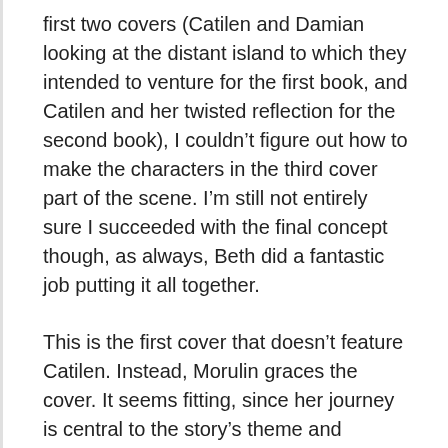first two covers (Catilen and Damian looking at the distant island to which they intended to venture for the first book, and Catilen and her twisted reflection for the second book), I couldn't figure out how to make the characters in the third cover part of the scene. I'm still not entirely sure I succeeded with the final concept though, as always, Beth did a fantastic job putting it all together.
This is the first cover that doesn't feature Catilen. Instead, Morulin graces the cover. It seems fitting, since her journey is central to the story's theme and conflict. Joining her is the enigmatic Pilgrim, a dimensional traveler she befriends during his visit to the island. I chose these two as the central pillars of the story because the interaction between them is, ultimately, what helps Morulin define and shape her